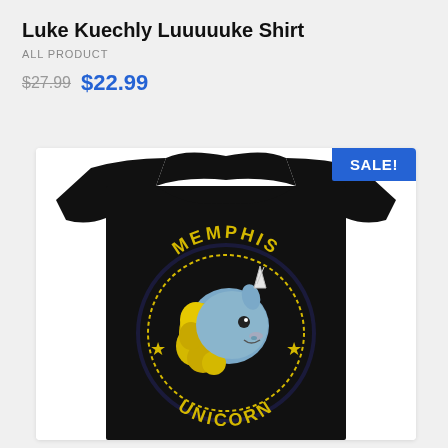Luke Kuechly Luuuuuke Shirt
ALL PRODUCT
$27.99  $22.99
[Figure (photo): Black t-shirt with Memphis Unicorn graphic: a cartoon unicorn emoji face in blue and yellow surrounded by 'MEMPHIS' arched on top and 'UNICORN' arched on bottom in yellow, with small star symbols, on a white background card with a blue SALE! badge in the top right corner.]